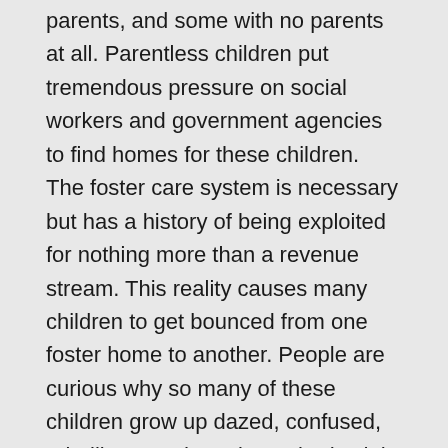parents, and some with no parents at all. Parentless children put tremendous pressure on social workers and government agencies to find homes for these children. The foster care system is necessary but has a history of being exploited for nothing more than a revenue stream. This reality causes many children to get bounced from one foster home to another. People are curious why so many of these children grow up dazed, confused, rebellious, and trusting nobody, duh.
Jesus is direct in His teachings about children. As adults, parents, grandparents, and great-grandparents, we have a significant responsibility to protect and teach the children in our care. God commissions us to teach them the truth about God and demonstrate by example, not by words, what it means to love God and love our neighbors. This teaching we are about to read from Jesus is clear that if we fall short of God's chosen idea for caring for God's kids, and